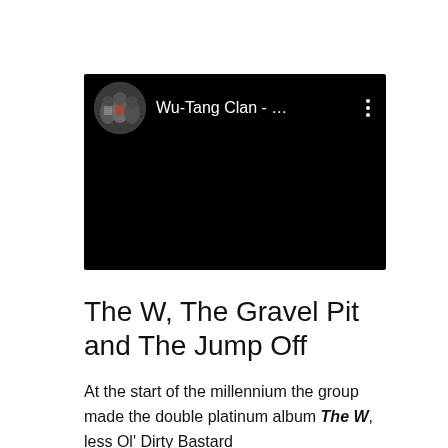[Figure (screenshot): A YouTube-style video thumbnail showing a black background with a circular avatar photo of Wu-Tang Clan group members, the channel name 'Wu-Tang Clan - ...' in white text, and a three-dot menu icon on the right.]
The W, The Gravel Pit and The Jump Off
At the start of the millennium the group made the double platinum album The W, less Ol' Dirty Bastard